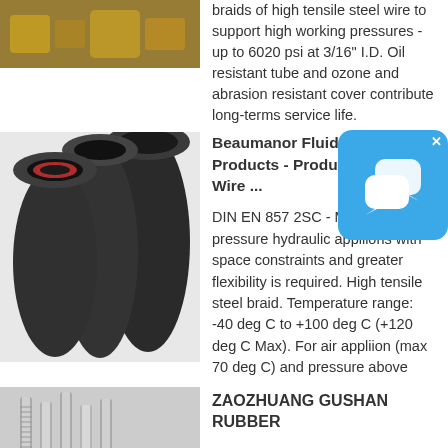[Figure (photo): Photo of brass hydraulic fittings, partially visible at top of page]
braids of high tensile steel wire to support high working pressures - up to 6020 psi at 3/16" I.D. Oil resistant tube and ozone and abrasion resistant cover contribute long-terms service life.
[Figure (photo): Photo of three black rubber hydraulic hoses of different sizes, ends visible, one with red/pink inner lining]
Beaumanor Fluid Po... Products - Product L... Wire ...
DIN EN 857 2SC - Medium pressure hydraulic appliions with space constraints and greater flexibility is required. High tensile steel braid. Temperature range: -40 deg C to +100 deg C (+120 deg C Max). For air appliion (max 70 deg C) and pressure above
[Figure (illustration): Chat or messaging app popup icon — blue rounded square with two speech bubble icons]
[Figure (photo): Photo of silver/metallic threaded fittings or screws, partially visible at bottom left]
ZAOZHUANG GUSHAN RUBBER